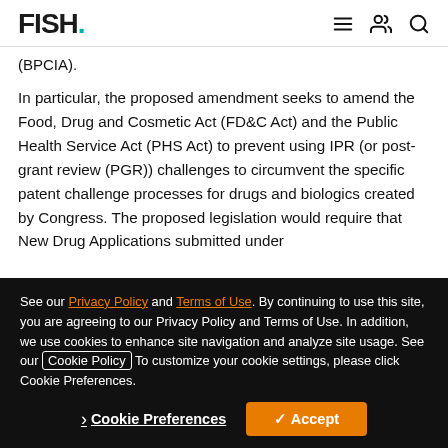FISH. [navigation icons]
(BPCIA).
In particular, the proposed amendment seeks to amend the Food, Drug and Cosmetic Act (FD&C Act) and the Public Health Service Act (PHS Act) to prevent using IPR (or post-grant review (PGR)) challenges to circumvent the specific patent challenge processes for drugs and biologics created by Congress. The proposed legislation would require that New Drug Applications submitted under
See our Privacy Policy and Terms of Use. By continuing to use this site, you are agreeing to our Privacy Policy and Terms of Use. In addition, we use cookies to enhance site navigation and analyze site usage. See our Cookie Policy To customize your cookie settings, please click Cookie Preferences.
Cookie Preferences  ✓ Accept